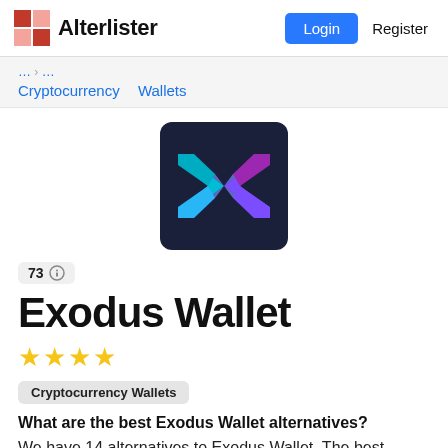Alterlister — Login   Register
Cryptocurrency   Wallets
[Figure (logo): Exodus Wallet logo: dark navy square background with an X shape formed by cyan and purple/violet arrow-like stripes pointing inward.]
73
Exodus Wallet
★★★★ (4 gold stars)
Cryptocurrency Wallets
What are the best Exodus Wallet alternatives?
We have 14 alternatives to Exodus Wallet. The best Exodus Wallet alternatives are... Pl...